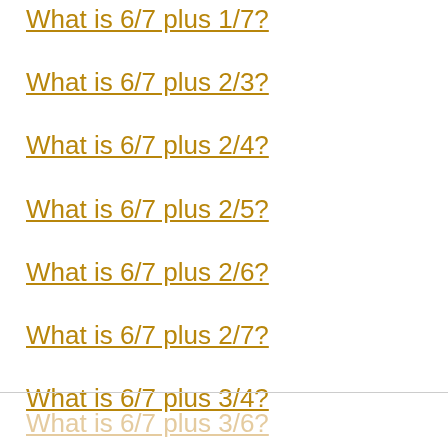What is 6/7 plus 1/7?
What is 6/7 plus 2/3?
What is 6/7 plus 2/4?
What is 6/7 plus 2/5?
What is 6/7 plus 2/6?
What is 6/7 plus 2/7?
What is 6/7 plus 3/4?
What is 6/7 plus 3/5?
What is 6/7 plus 3/6?